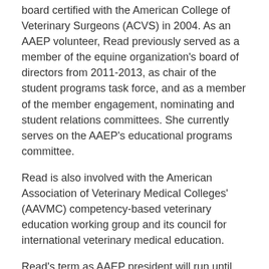board certified with the American College of Veterinary Surgeons (ACVS) in 2004. As an AAEP volunteer, Read previously served as a member of the equine organization's board of directors from 2011-2013, as chair of the student programs task force, and as a member of the member engagement, nominating and student relations committees. She currently serves on the AAEP's educational programs committee.
Read is also involved with the American Association of Veterinary Medical Colleges' (AAVMC) competency-based veterinary education working group and its council for international veterinary medical education.
Read's term as AAEP president will run until December 2022.
Click here to read the AAEP news release.